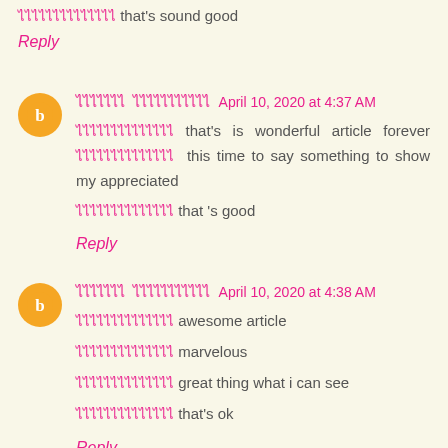ไไไไไไไไไไไไไไ that's sound good
Reply
ไไไไไไไ ไไไไไไไไไไไ April 10, 2020 at 4:37 AM
ไไไไไไไไไไไไไไ that's is wonderful article forever ไไไไไไไไไไไไไไ this time to say something to show my appreciated
ไไไไไไไไไไไไไไ that 's good
Reply
ไไไไไไไ ไไไไไไไไไไไ April 10, 2020 at 4:38 AM
ไไไไไไไไไไไไไไ awesome article
ไไไไไไไไไไไไไไ marvelous
ไไไไไไไไไไไไไไ great thing what i can see
ไไไไไไไไไไไไไไ that's ok
Reply